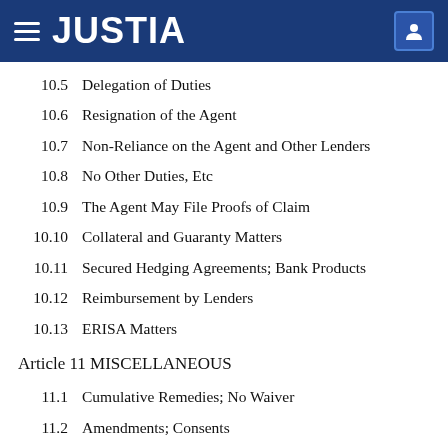JUSTIA
10.5   Delegation of Duties
10.6   Resignation of the Agent
10.7   Non-Reliance on the Agent and Other Lenders
10.8   No Other Duties, Etc
10.9   The Agent May File Proofs of Claim
10.10  Collateral and Guaranty Matters
10.11  Secured Hedging Agreements; Bank Products
10.12  Reimbursement by Lenders
10.13  ERISA Matters
Article 11 MISCELLANEOUS
11.1   Cumulative Remedies; No Waiver
11.2   Amendments; Consents
11.3   Costs and Expenses
11.4   Nature of Lenders' Obligations